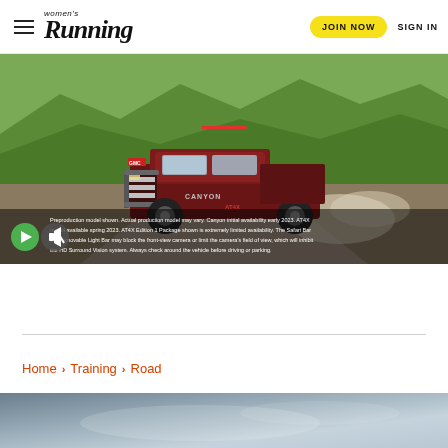Women's Running | JOIN NOW | SIGN IN
[Figure (photo): GMC Canyon AT4X truck driving on a dirt road in a mountainous green landscape, with dust trail behind it. Video overlay with play button and mute button. Caption text about preproduction model disclaimer.]
Preproduction model shown. Actual production model may vary. Canyon initial availability early 2023. AT4X model available spring 2023. AT4X Edition 1 Package shown is extremely limited availability. The Safari Bar and removable Light Bar may block the front-view camera or limit the camera's field of view, which will inhibit the HD Surround Vision system. Always check around the vehicle before driving or parking.
Home > Training > Road